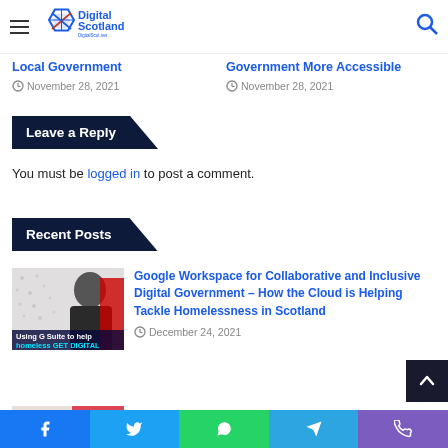Digital Scotland — DigitalScot.net
Local Government
November 28, 2021
Government More Accessible
November 28, 2021
Leave a Reply
You must be logged in to post a comment.
Recent Posts
[Figure (photo): Thumbnail showing a man with text overlay: Using G Suite to help homeless GET DIGITAL]
Google Workspace for Collaborative and Inclusive Digital Government – How the Cloud is Helping Tackle Homelessness in Scotland
December 24, 2021
Facebook Twitter WhatsApp Telegram Phone social share bar